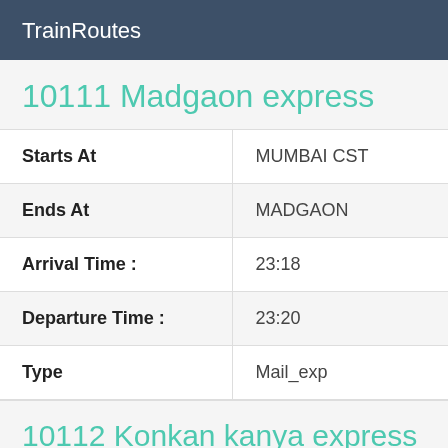TrainRoutes
10111 Madgaon express
| Starts At | MUMBAI CST |
| Ends At | MADGAON |
| Arrival Time : | 23:18 |
| Departure Time : | 23:20 |
| Type | Mail_exp |
10112 Konkan kanya express
| Starts At | MADGAON |
| Ends At | MUMBAI CST |